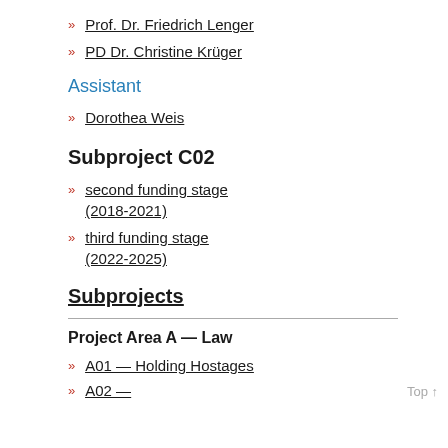Prof. Dr. Friedrich Lenger
PD Dr. Christine Krüger
Assistant
Dorothea Weis
Subproject C02
second funding stage (2018-2021)
third funding stage (2022-2025)
Subprojects
Project Area A — Law
A01 — Holding Hostages
A02 — ...